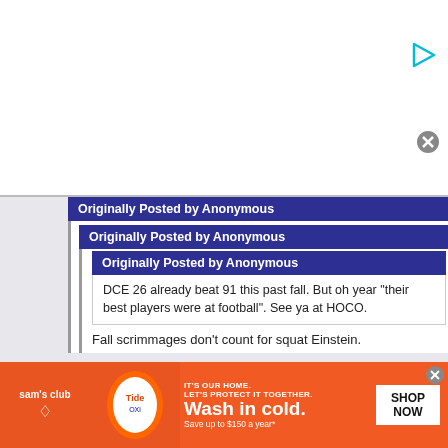[Figure (screenshot): Top advertisement area with white background, play button icon (cyan triangle) at top right, and close/X button (grey circle) below it]
Originally Posted by Anonymous
Originally Posted by Anonymous
Originally Posted by Anonymous
DCE 26 already beat 91 this past fall. But oh year "their best players were at football". See ya at HOCO.
Fall scrimmages don't count for squat Einstein.
Yes they do, at this level. By 8th grade, all kids on elite level tra teams are hoping to play lacrosse in high school and college, a most are playing year round. Most teams have roughly the sam
[Figure (screenshot): Sam's Club advertisement banner with orange background. Shows Sam's Club logo on left, Tide and Oxi product images, text 'IT'S OUR HOME. LET'S PROTECT IT TOGETHER. Wash in cold. Save up to $150 a year*' and a white SHOP NOW button on the right.]